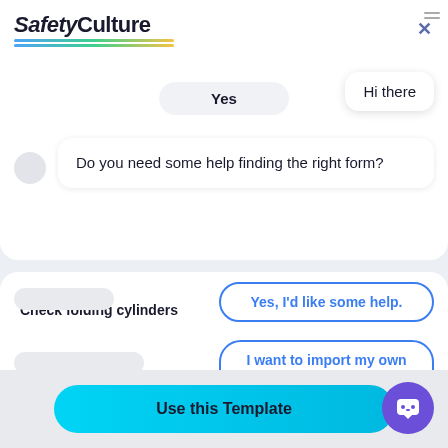[Figure (screenshot): SafetyCulture app header with logo and close button]
Yes
Hi there
Do you need some help finding the right form?
Check folding cylinders
Yes, I'd like some help.
I want to import my own form.
No
No, I'm good. Thanks!
Use this Template